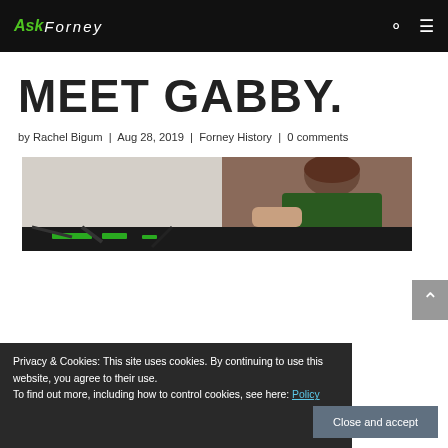Ask Forney
MEET GABBY.
by Rachel Bigum | Aug 28, 2019 | Forney History | 0 comments
[Figure (photo): Photo of a woman working, wearing green, looking down at electronics/circuit boards]
Privacy & Cookies: This site uses cookies. By continuing to use this website, you agree to their use.
To find out more, including how to control cookies, see here: Policy
Close and accept